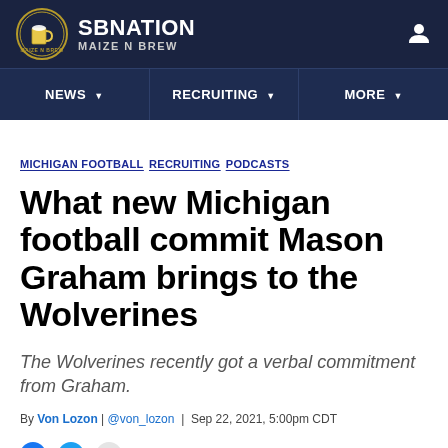SB NATION — MAIZE N BREW
[Figure (logo): SB Nation Maize N Brew circular logo with beer mug graphic]
NEWS  RECRUITING  MORE
MICHIGAN FOOTBALL RECRUITING PODCASTS
What new Michigan football commit Mason Graham brings to the Wolverines
The Wolverines recently got a verbal commitment from Graham.
By Von Lozon | @von_lozon | Sep 22, 2021, 5:00pm CDT
SHARE